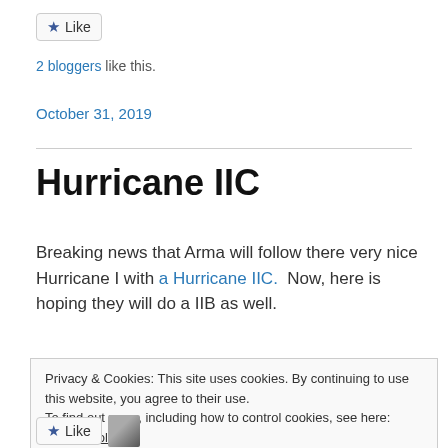[Figure (other): Like button with star icon, and two blogger avatar thumbnails]
2 bloggers like this.
October 31, 2019
Hurricane IIC
Breaking news that Arma will follow there very nice Hurricane I with a Hurricane IIC.  Now, here is hoping they will do a IIB as well.
Privacy & Cookies: This site uses cookies. By continuing to use this website, you agree to their use.
To find out more, including how to control cookies, see here: Cookie Policy
[Figure (other): Like button with star icon and a small avatar thumbnail at the bottom]